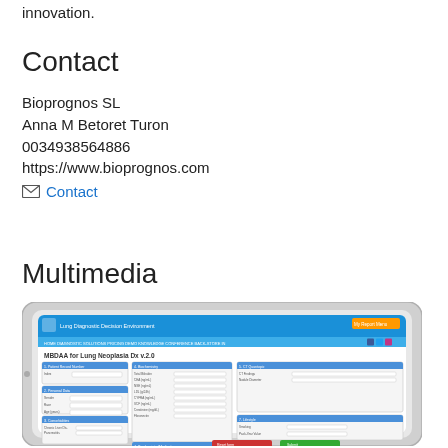innovation.
Contact
Bioprognos SL
Anna M Betoret Turon
0034938564886
https://www.bioprognos.com
✉ Contact
Multimedia
[Figure (screenshot): Screenshot of MBDAA for Lung Neoplasia Dx v.2.0 web application interface shown on a tablet device, featuring sections for Patient Record Number, Personal Data, Comorbidities, Biochemistry, CT Quantopic, and Lifestyle, with a blue navigation bar and green/red action buttons at the bottom.]